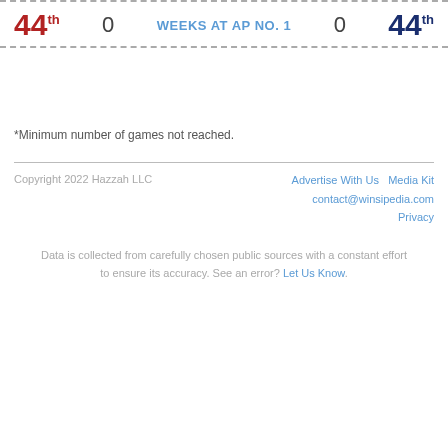44th  0  WEEKS AT AP NO. 1  0  44th
*Minimum number of games not reached.
Copyright 2022 Hazzah LLC   Advertise With Us   Media Kit   contact@winsipedia.com   Privacy
Data is collected from carefully chosen public sources with a constant effort to ensure its accuracy. See an error? Let Us Know.